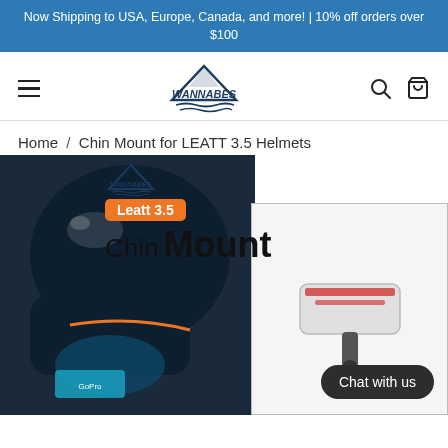Now Shipping to USA, Europe, Canada, and more! | 10% off orders over $100
[Figure (logo): WannaBes mountain logo and brand name in navbar with hamburger menu, search icon, and shopping bag icon]
Home / Chin Mount for LEATT 3.5 Helmets
[Figure (photo): Product image showing Leatt 3.5 Chin Mount with WannaBes logo. Includes an orange badge labeled 'Leatt 3.5', text 'Chin Mount', a dark helmet photo on the left, and an inset product photo on the right. Chat with us button visible.]